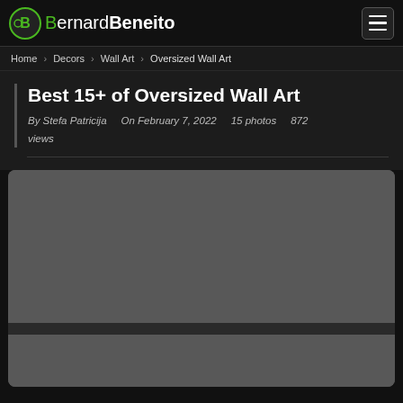Bernard Beneito
Home › Decors › Wall Art › Oversized Wall Art
Best 15+ of Oversized Wall Art
By Stefa Patricija    On February 7, 2022    15 photos    872 views
[Figure (photo): Main article image placeholder for Oversized Wall Art gallery, shown as a dark grey rectangle with a darker divider band.]